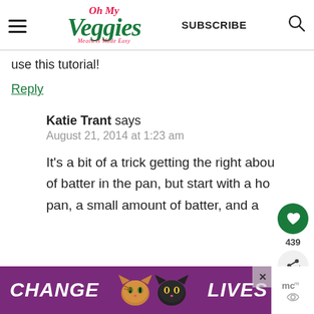Oh My Veggies — Meatless Made Easy | SUBSCRIBE
use this tutorial!
Reply
Katie Trant says
August 21, 2014 at 1:23 am
It's a bit of a trick getting the right amount of batter in the pan, but start with a hot pan, a small amount of batter, and a
[Figure (infographic): Advertisement banner: CHANGE LIVES with two cat faces (tabby and black cat), purple background, close button X]